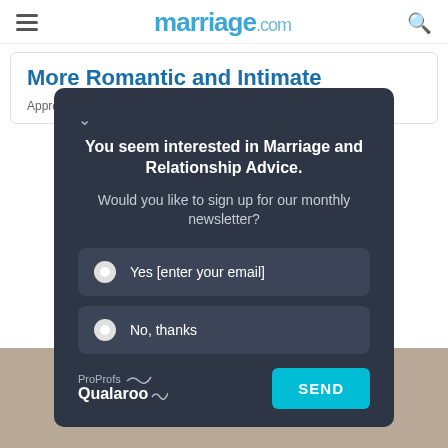marriage.com
More Romantic and Intimate
Approved By Angela Welch, Marriage & Family Therapist
You seem interested in Marriage and Relationship Advice. Would you like to sign up for our monthly newsletter?
Yes [enter your email]
No, thanks
ProProfs Qualaroo SEND